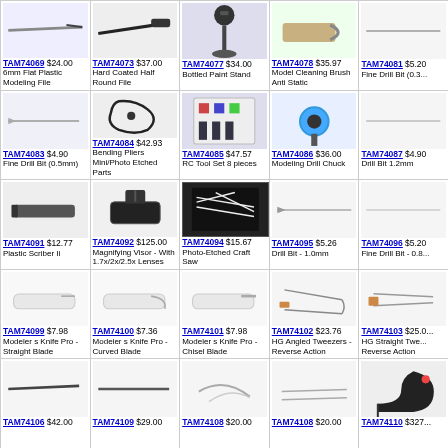TAM74069 $24.00 6mm Flat Plastic Modeling File
TAM74073 $37.00 Hard Coated Half Round File
TAM74077 $34.00 Bottled Paint Stand
TAM74078 $35.97 Model Cleaning Brush Anti Static
TAM74081 $5.20 Fine Drill Bit (0.3...)
TAM74083 $4.90 Fine Drill Bit (0.5mm)
TAM74084 $42.93 Bending Pliers Mini/Photo Etched Parts
TAM74085 $47.57 RC Tool Set 8 pieces
TAM74086 $36.00 Modeling Drill Chuck
TAM74087 $4.90 Drill Bit 1.2mm
TAM74091 $12.77 Plastic Scriber Ii
TAM74092 $125.00 Magnifying Visor - With 1.7x/2x/2.5x Lenses
TAM74094 $15.67 Photo-Etched Craft Saw
TAM74095 $5.26 Drill Bit - 1.0mm
TAM74096 $5.20 Fine Drill Bit - 0.8...
TAM74099 $7.98 Modeler s Knife Pro - Straight Blade
TAM74100 $7.36 Modeler s Knife Pro - Curved Blade
TAM74101 $7.98 Modeler s Knife Pro - Chisel Blade
TAM74102 $23.76 HG Angled Tweezers - Reverse Action
TAM74103 $25.00 HG Straight Tweezers Reverse Action
TAM74106 $42.00
TAM74109 $29.00
TAM74108 $20.00
TAM74110 $327...